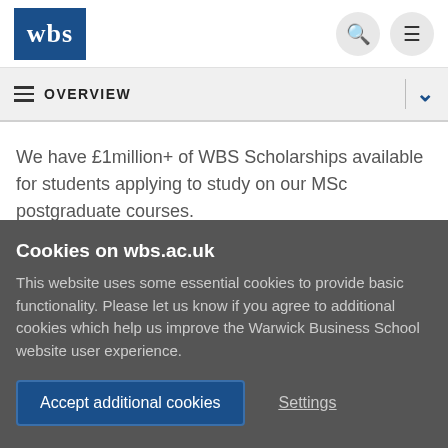[Figure (logo): WBS (Warwick Business School) logo — white 'wbs' text on dark blue square background]
OVERVIEW
We have £1million+ of WBS Scholarships available for students applying to study on our MSc postgraduate courses.
Cookies on wbs.ac.uk
This website uses some essential cookies to provide basic functionality. Please let us know if you agree to additional cookies which help us improve the Warwick Business School website user experience.
Accept additional cookies   Settings